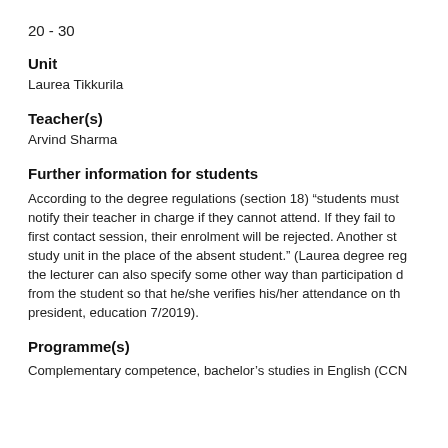20 - 30
Unit
Laurea Tikkurila
Teacher(s)
Arvind Sharma
Further information for students
According to the degree regulations (section 18) “students must notify their teacher in charge if they cannot attend. If they fail to first contact session, their enrolment will be rejected. Another st study unit in the place of the absent student.” (Laurea degree reg the lecturer can also specify some other way than participation d from the student so that he/she verifies his/her attendance on th president, education 7/2019).
Programme(s)
Complementary competence, bachelor’s studies in English (CCN